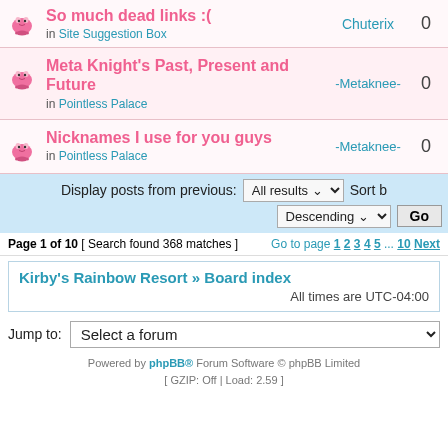So much dead links :( in Site Suggestion Box — Chuterix, 0 replies
Meta Knight's Past, Present and Future in Pointless Palace — -Metaknee-, 0 replies
Nicknames I use for you guys in Pointless Palace — -Metaknee-, 0 replies
Display posts from previous: All results Sort b Descending Go
Page 1 of 10 [ Search found 368 matches ] Go to page 1 2 3 4 5 ... 10 Next
Kirby's Rainbow Resort » Board index
All times are UTC-04:00
Jump to: Select a forum
Powered by phpBB® Forum Software © phpBB Limited [ GZIP: Off | Load: 2.59 ]